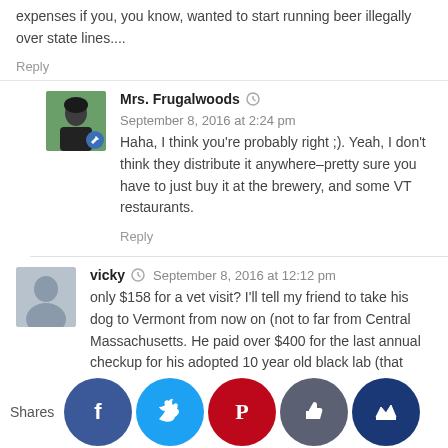expenses if you, you know, wanted to start running beer illegally over state lines....
Reply
Mrs. Frugalwoods  September 8, 2016 at 2:24 pm
Haha, I think you're probably right ;). Yeah, I don't think they distribute it anywhere–pretty sure you have to just buy it at the brewery, and some VT restaurants.
Reply
vicky  September 8, 2016 at 12:12 pm
only $158 for a vet visit? I'll tell my friend to take his dog to Vermont from now on (not to far from Central Massachusetts. He paid over $400 for the last annual checkup for his adopted 10 year old black lab (that included lab tests for lymes and a wash and manicure.)
Reply
Christine K  September 8, 2016 at 1:05 pm
My folks are in NH and they shop mainly at Hannafords now I ... you ha... of thos...?
Shares